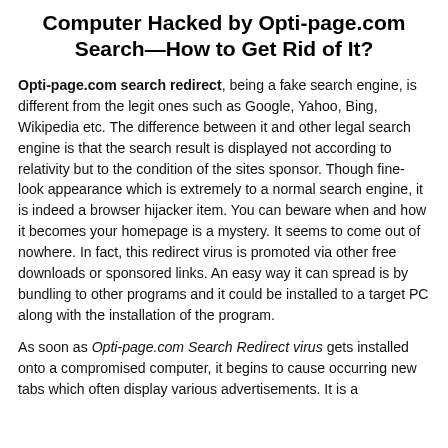Computer Hacked by Opti-page.com Search—How to Get Rid of It?
Opti-page.com search redirect, being a fake search engine, is different from the legit ones such as Google, Yahoo, Bing, Wikipedia etc. The difference between it and other legal search engine is that the search result is displayed not according to relativity but to the condition of the sites sponsor. Though fine-look appearance which is extremely to a normal search engine, it is indeed a browser hijacker item. You can beware when and how it becomes your homepage is a mystery. It seems to come out of nowhere. In fact, this redirect virus is promoted via other free downloads or sponsored links. An easy way it can spread is by bundling to other programs and it could be installed to a target PC along with the installation of the program.
As soon as Opti-page.com Search Redirect virus gets installed onto a compromised computer, it begins to cause occurring new tabs which often display various advertisements. It is a...